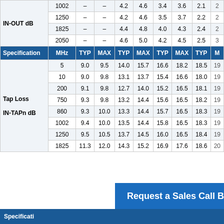| Specification | MHz | TYP | MAX | TYP | MAX | TYP | MAX | TYP | M… |
| --- | --- | --- | --- | --- | --- | --- | --- | --- | --- |
| IN-OUT dB | 1002 | – | – | 4.2 | 4.6 | 3.4 | 3.6 | 2.1 | 2… |
|  | 1250 | – | – | 4.2 | 4.6 | 3.5 | 3.7 | 2.2 | 2… |
|  | 1825 | – | – | 4.4 | 4.8 | 4.0 | 4.3 | 2.4 | 2… |
|  | 2050 | – | – | 4.6 | 5.0 | 4.2 | 4.5 | 2.5 | 3… |
| Specification | MHz | TYP | MAX | TYP | MAX | TYP | MAX | TYP | M… |
| Tap Loss IN-TAPn dB | 5 | 9.0 | 9.5 | 14.0 | 15.7 | 16.6 | 18.2 | 18.5 | 19… |
|  | 10 | 9.0 | 9.8 | 13.1 | 13.7 | 15.4 | 16.6 | 18.0 | 19… |
|  | 200 | 9.1 | 9.8 | 12.7 | 14.0 | 15.2 | 16.5 | 18.1 | 19… |
|  | 750 | 9.3 | 9.8 | 13.2 | 14.4 | 15.6 | 16.5 | 18.2 | 19… |
|  | 860 | 9.3 | 10.0 | 13.3 | 14.4 | 15.7 | 16.5 | 18.3 | 19… |
|  | 1002 | 9.4 | 10.0 | 13.5 | 14.4 | 15.8 | 16.5 | 18.3 | 19… |
|  | 1250 | 9.5 | 10.5 | 13.7 | 14.5 | 16.0 | 16.5 | 18.4 | 19… |
|  | 1825 | 11.3 | 12.0 | 14.3 | 15.2 | 16.9 | 17.6 | 18.6 | 20… |
[Figure (infographic): Blue banner with envelope icon and text 'Request a Sales Call Back']
Specificati…